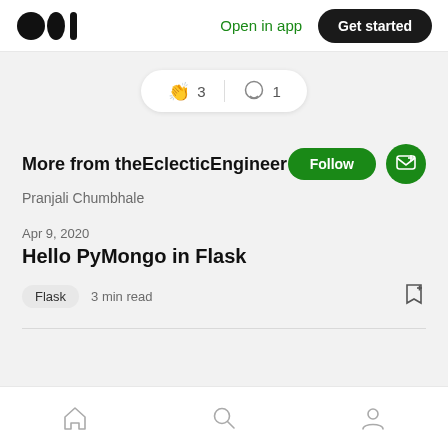[Figure (logo): Medium logo (three dots/circles)]
Open in app
Get started
[Figure (infographic): Clap icon with count 3, comment icon with count 1 in a pill-shaped container]
More from theEclecticEngineer
Pranjali Chumbhale
Apr 9, 2020
Hello PyMongo in Flask
Flask  3 min read